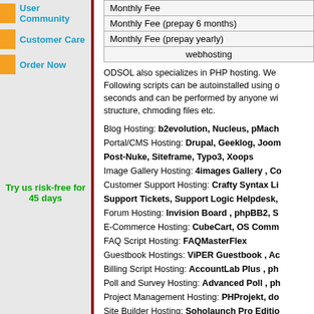User Community
Customer Care
Order Now
Try us risk-free for 45 days
|  |
| --- |
| Monthly Fee |
| Monthly Fee (prepay 6 months) |
| Monthly Fee (prepay yearly) |
| webhosting |
ODSOL also specializes in PHP hosting. We Following scripts can be autoinstalled using o seconds and can be performed by anyone wi structure, chmoding files etc.
Blog Hosting: b2evolution, Nucleus, pMach Portal/CMS Hosting: Drupal, Geeklog, Joom Post-Nuke, Siteframe, Typo3, Xoops Image Gallery Hosting: 4images Gallery , Co Customer Support Hosting: Crafty Syntax Li Support Tickets, Support Logic Helpdesk, Forum Hosting: Invision Board , phpBB2, S E-Commerce Hosting: CubeCart, OS Comm FAQ Script Hosting: FAQMasterFlex Guestbook Hostings: ViPER Guestbook , Ac Billing Script Hosting: AccountLab Plus , ph Poll and Survey Hosting: Advanced Poll , ph Project Management Hosting: PHProjekt, do Site Builder Hosting: Soholaunch Pro Editio Wiki Hosting: PhpWiki, TikiWiki Other Script Hosting: Dew-NewPHPLinks, No phpFormGenerator, WebCalendar, reseller ho hosting, virtual private server with full root ac hosting, web hosting reseller, reseller hosting phpBB hosting, CPanel hosting reseller, Web cheap servers, MovableType hosting, Blog ho budget hosting solutions, managed dedicated web hosting, hosting reseller program, dedia MySQL 4.1 hosting, PHP 5 web hosting, chea web hosting, Phorum hosting, virtual dedicate web hosting (support Image Magick; GD libra